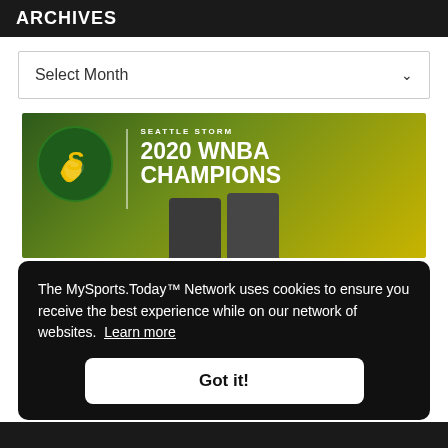ARCHIVES
Select Month
[Figure (illustration): Seattle Storm 2020 WNBA Champions advertisement banner with team logo and jerseys]
The MySports.Today™ Network uses cookies to ensure you receive the best experience while on our network of websites. Learn more
Got it!